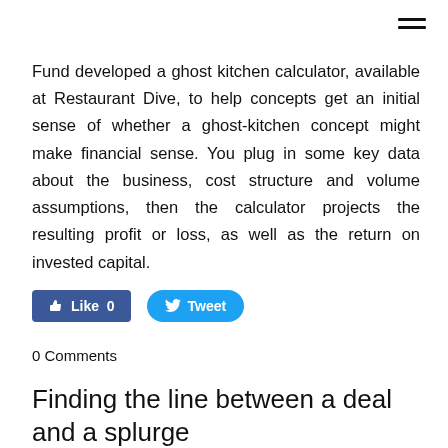Fund developed a ghost kitchen calculator, available at Restaurant Dive, to help concepts get an initial sense of whether a ghost-kitchen concept might make financial sense. You plug in some key data about the business, cost structure and volume assumptions, then the calculator projects the resulting profit or loss, as well as the return on invested capital.
[Figure (other): Facebook Like button (blue, rounded rectangle) showing 'Like 0' and Twitter Tweet button (blue, pill-shaped) showing 'Tweet']
0 Comments
Finding the line between a deal and a splurge